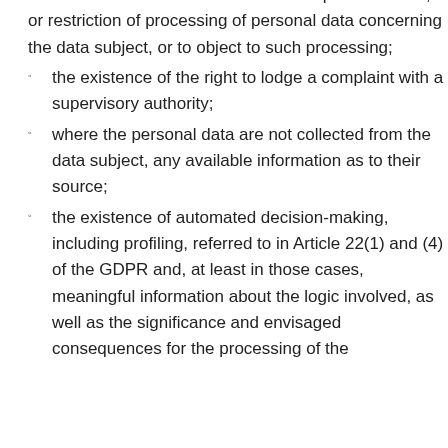the controller rectification or erasure of personal data, or restriction of processing of personal data concerning the data subject, or to object to such processing;
the existence of the right to lodge a complaint with a supervisory authority;
where the personal data are not collected from the data subject, any available information as to their source;
the existence of automated decision-making, including profiling, referred to in Article 22(1) and (4) of the GDPR and, at least in those cases, meaningful information about the logic involved, as well as the significance and envisaged consequences for the processing of the